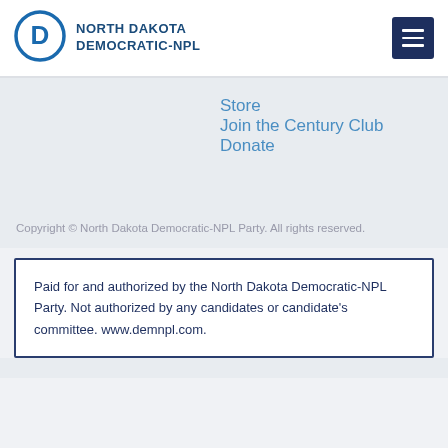[Figure (logo): North Dakota Democratic-NPL Party logo: blue circle with letter D inside, next to text NORTH DAKOTA DEMOCRATIC-NPL]
Store
Join the Century Club
Donate
Copyright © North Dakota Democratic-NPL Party. All rights reserved.
Paid for and authorized by the North Dakota Democratic-NPL Party. Not authorized by any candidates or candidate's committee. www.demnpl.com.